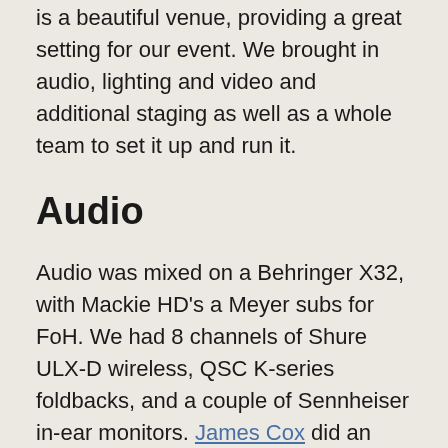is a beautiful venue, providing a great setting for our event. We brought in audio, lighting and video and additional staging as well as a whole team to set it up and run it.
Audio
Audio was mixed on a Behringer X32, with Mackie HD's a Meyer subs for FoH. We had 8 channels of Shure ULX-D wireless, QSC K-series foldbacks, and a couple of Sennheiser in-ear monitors. James Cox did an amazing job of managing FOH, foldback and in-ear mixes.